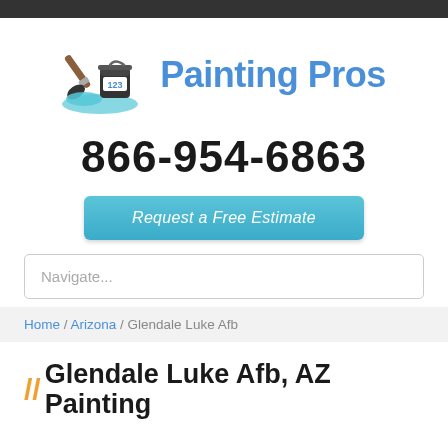[Figure (logo): 123 Painting Pros logo with paintbrush and paint can icon, with blue text 'Painting Pros']
866-954-6863
Request a Free Estimate
Navigate...
Home / Arizona / Glendale Luke Afb
// Glendale Luke Afb, AZ Painting